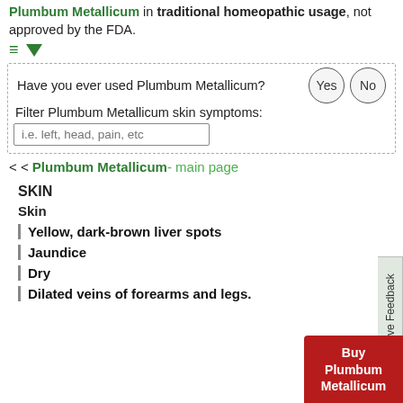Below are the main Rubrics (the strongest indications or symptoms) of Plumbum Metallicum in traditional homeopathic usage, not approved by the FDA.
Have you ever used Plumbum Metallicum? Yes / No
Filter Plumbum Metallicum skin symptoms:
i.e. left, head, pain, etc
< < Plumbum Metallicum- main page
SKIN
Skin
Yellow, dark-brown liver spots
Jaundice
Dry
Dilated veins of forearms and legs.